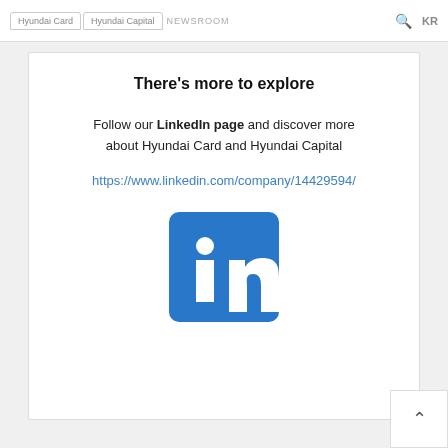Hyundai Card | Hyundai Capital | NEWSROOM  KR
There's more to explore
Follow our LinkedIn page and discover more about Hyundai Card and Hyundai Capital
https://www.linkedin.com/company/14429594/
[Figure (logo): LinkedIn logo — blue rounded square with white 'in' text]